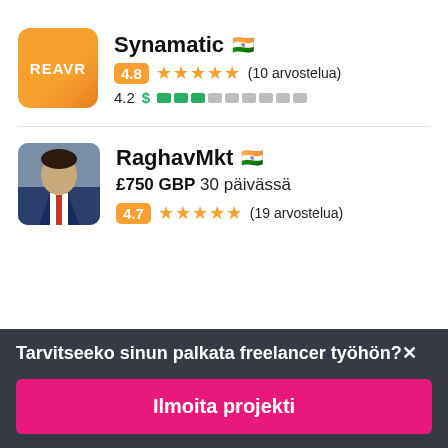[Figure (logo): Orange gradient square logo with text REAVR]
Synamatic 🇮🇳
4.8 ★★★★★ (10 arvostelua)
4.2 $ ■■■□□□□□□□
[Figure (photo): Profile photo of RaghavMkt, a man in a suit]
RaghavMkt 🇮🇳
£750 GBP 30 päivässä
4.7 ★★★★★ (19 arvostelua)
Tarvitseeko sinun palkata freelancer työhön?✕
Ilmoita projekti